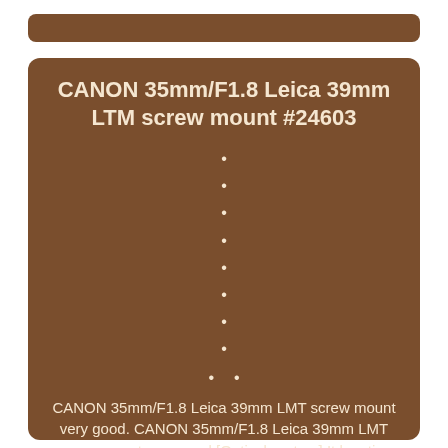CANON 35mm/F1.8 Leica 39mm LTM screw mount #24603
•
•
•
•
•
•
•
•
• •
CANON 35mm/F1.8 Leica 39mm LMT screw mount very good. CANON 35mm/F1.8 Leica 39mm LMT screw mount very good [Optical system] It has tiny dust, slight haze (No impact